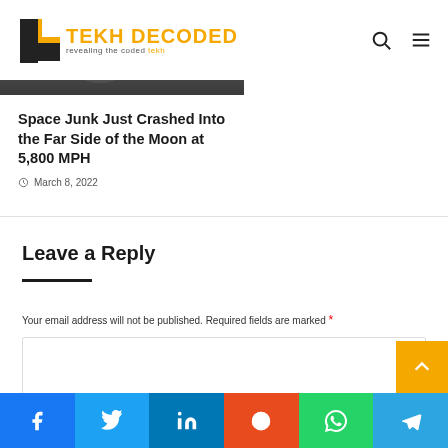TEKH DECODED — revealing the coded tekh
[Figure (photo): Grayscale moon surface photo]
Space Junk Just Crashed Into the Far Side of the Moon at 5,800 MPH
March 8, 2022
Leave a Reply
Your email address will not be published. Required fields are marked *